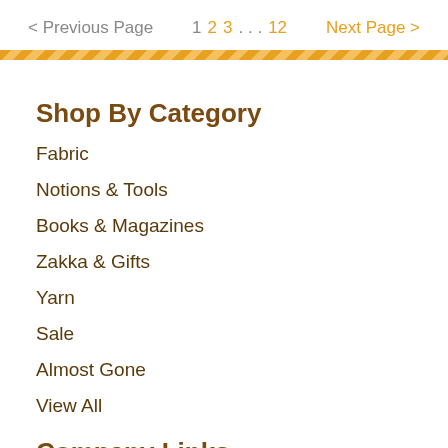< Previous Page   1  2  3  ...  12   Next Page >
Shop By Category
Fabric
Notions & Tools
Books & Magazines
Zakka & Gifts
Yarn
Sale
Almost Gone
View All
Company Links
Classes